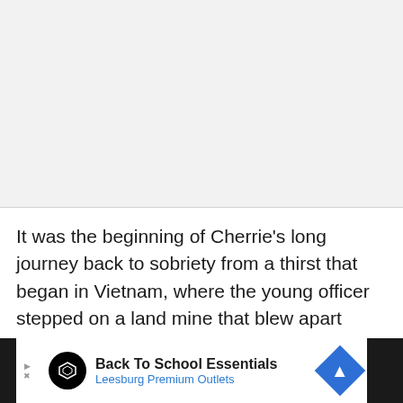[Figure (other): Light gray placeholder/blank area at top of page, likely an image or advertisement space]
It was the beginning of Cherrie's long journey back to sobriety from a thirst that began in Vietnam, where the young officer stepped on a land mine that blew apart his right leg, right hand and part of his left heel.
[Figure (other): Advertisement bar at bottom: 'Back To School Essentials — Leesburg Premium Outlets' with logo and directional sign icon on dark background]